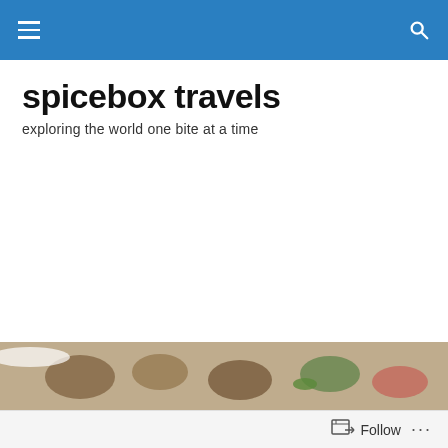spicebox travels - navigation bar
spicebox travels
exploring the world one bite at a time
[Figure (illustration): 2022 Gold Award Winner Nautilus Book Awards - Better Books for a Better World, with Spicebox Kitchen book cover by Linda Shiue MD Chef]
TAGGED WITH OAHU
[Figure (photo): Food photo strip showing cooked dish with vegetables]
Follow ...